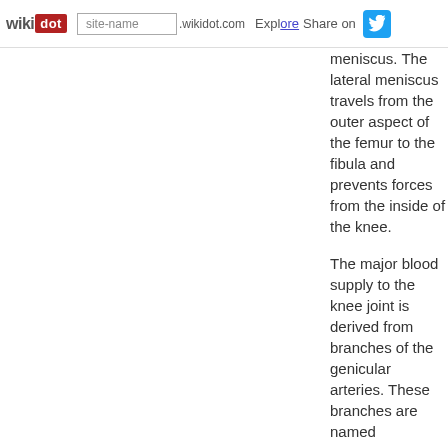wikidot | site-name .wikidot.com | Explore | Share on
meniscus. The lateral meniscus travels from the outer aspect of the femur to the fibula and prevents forces from the inside of the knee.
The major blood supply to the knee joint is derived from branches of the genicular arteries. These branches are named